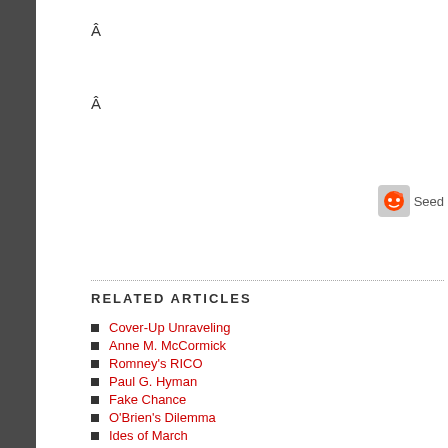Â
Â
RELATED ARTICLES
Cover-Up Unraveling
Anne M. McCormick
Romney's RICO
Paul G. Hyman
Fake Chance
O'Brien's Dilemma
Ides of March
Seeking Viability
Kasowitz Benson
Lehman - Examiners Report
Stone & Webster
Hennigan Bennett & Dorman
DOJ: Trustee Scorecard
Andrew Cuomo's Deaths
Roberta DeAngelis "in play"
Schuette Fears Giants